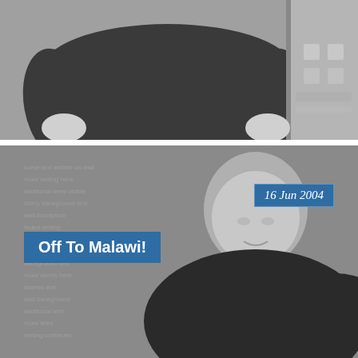[Figure (photo): Black and white photo of a heavyset person in a dark long-sleeve sweater, hands at sides, standing in front of a door or cabinet with hardware visible on the right side.]
[Figure (photo): Black and white photo of a bald middle-aged man in a dark shirt, standing in front of a wall with blurry text/writing visible in the background. Overlaid with date label '16 Jun 2004' and title banner 'Off To Malawi!'.]
16 Jun 2004
Off To Malawi!